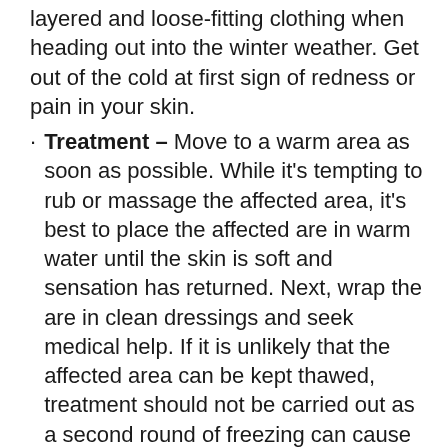layered and loose-fitting clothing when heading out into the winter weather. Get out of the cold at first sign of redness or pain in your skin.
Treatment – Move to a warm area as soon as possible. While it's tempting to rub or massage the affected area, it's best to place the affected are in warm water until the skin is soft and sensation has returned. Next, wrap the are in clean dressings and seek medical help. If it is unlikely that the affected area can be kept thawed, treatment should not be carried out as a second round of freezing can cause more extensive and severe damage.
During this spell of cold and snowy weather the last thing you want to do is spend time in the ER because of frostbite. Make sure you're protected.